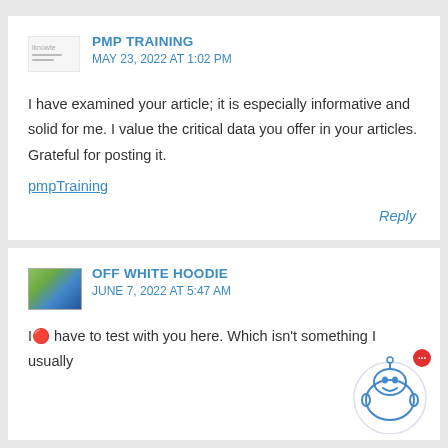PMP TRAINING
MAY 23, 2022 AT 1:02 PM
I have examined your article; it is especially informative and solid for me. I value the critical data you offer in your articles. Grateful for posting it.
pmpTraining
Reply
OFF WHITE HOODIE
JUNE 7, 2022 AT 5:47 AM
I🔴 have to test with you here. Which isn't something I usually